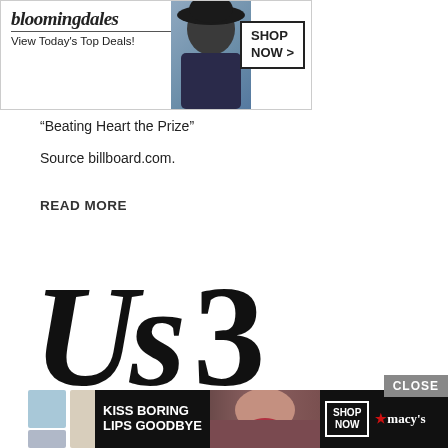[Figure (screenshot): Bloomingdale's banner ad with 'View Today's Top Deals!' text and 'SHOP NOW >' button, with model wearing hat]
“Beating Heart the Prize”
Source billboard.com.
READ MORE
[Figure (logo): Us3 (US3) logo - large stylized letters 'Us3' in black italic serif font]
[Figure (screenshot): Colorful pastel tiles background (Us3 album art or website background) with squares in blue, green, beige, gray, purple tones]
[Figure (screenshot): Macy's banner ad: 'KISS BORING LIPS GOODBYE' with model's face, SHOP NOW button and Macy's star logo. CLOSE button overlay.]